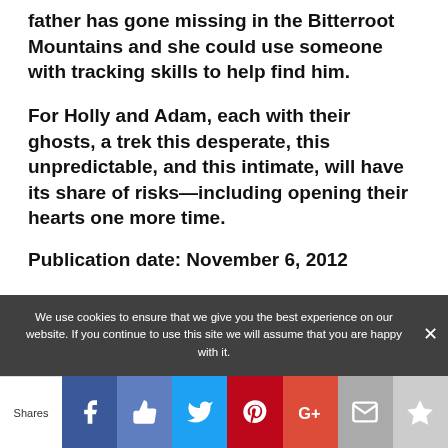father has gone missing in the Bitterroot Mountains and she could use someone with tracking skills to help find him.
For Holly and Adam, each with their ghosts, a trek this desperate, this unpredictable, and this intimate, will have its share of risks—including opening their hearts one more time.
Publication date: November 6, 2012
We use cookies to ensure that we give you the best experience on our website. If you continue to use this site we will assume that you are happy with it.
Shares [Facebook] [Like] [Twitter] [Pinterest] [Google+] [Mail] [Crown]